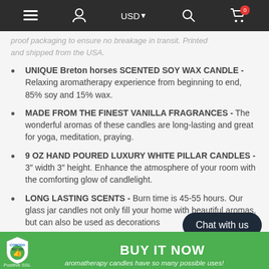≡  👤  USD ▼  🔍  🛒 0
proof packaging to ensure no breakage in transit. Printed and shipped from the USA.
UNIQUE Breton horses SCENTED SOY WAX CANDLE - Relaxing aromatherapy experience from beginning to end, 85% soy and 15% wax.
MADE FROM THE FINEST VANILLA FRAGRANCES - The wonderful aromas of these candles are long-lasting and great for yoga, meditation, praying.
9 OZ HAND POURED LUXURY WHITE PILLAR CANDLES - 3" width 3" height. Enhance the atmosphere of your room with the comforting glow of candlelight.
LONG LASTING SCENTS - Burn time is 45-55 hours. Our glass jar candles not only fill your home with beautiful aromas, but can also be used as decorations
BUY IT NOW  Chat with us  aromatherapy candles have so many possible uses!